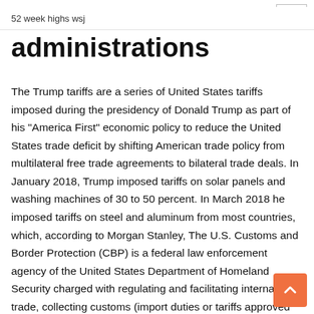52 week highs wsj
administrations
The Trump tariffs are a series of United States tariffs imposed during the presidency of Donald Trump as part of his "America First" economic policy to reduce the United States trade deficit by shifting American trade policy from multilateral free trade agreements to bilateral trade deals. In January 2018, Trump imposed tariffs on solar panels and washing machines of 30 to 50 percent. In March 2018 he imposed tariffs on steel and aluminum from most countries, which, according to Morgan Stanley, The U.S. Customs and Border Protection (CBP) is a federal law enforcement agency of the United States Department of Homeland Security charged with regulating and facilitating international trade, collecting customs (import duties or tariffs approved by the U.S. Congress), and enforcing U.S. regulations, including trade, customs and immigration. They man most border crossing stations and ports. Trade barriers, such as tariffs, have been demonstrated to cause more economic harm than benefit; they raise prices and reduce